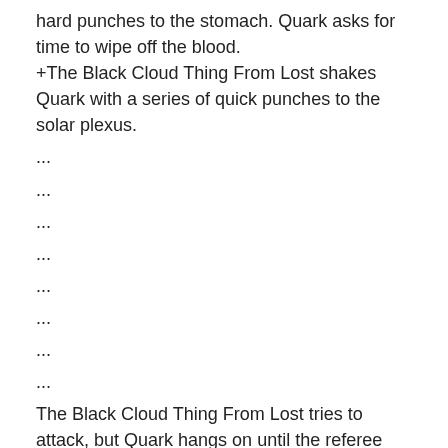hard punches to the stomach. Quark asks for time to wipe off the blood.
+The Black Cloud Thing From Lost shakes Quark with a series of quick punches to the solar plexus.
...
...
...
...
...
...
...
...
The Black Cloud Thing From Lost tries to attack, but Quark hangs on until the referee separates them.
...
...
...
...
...